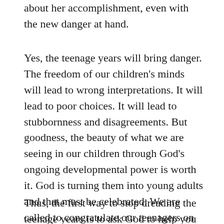about her accomplishment, even with the new danger at hand.
Yes, the teenage years will bring danger. The freedom of our children’s minds will lead to wrong interpretations. It will lead to poor choices. It will lead to stubbornness and disagreements. But goodness, the beauty of what we are seeing in our children through God’s ongoing developmental power is worth it. God is turning them into young adults and that must be celebrated. We are called to congratulate our teenagers on what God is doing with them, even as we pay attention to the sharp brick fireplace. The act of dreading the teenage years is usually a confession of our own selfishness. What we dread most is the disruption to our lives.
Thus, the first way to stop dreading the teenage years is to ask God to help you see them through his own master